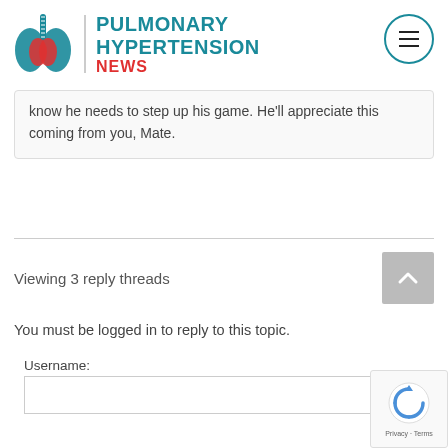PULMONARY HYPERTENSION NEWS
know he needs to step up his game. He'll appreciate this coming from you, Mate.
Viewing 3 reply threads
You must be logged in to reply to this topic.
Username: